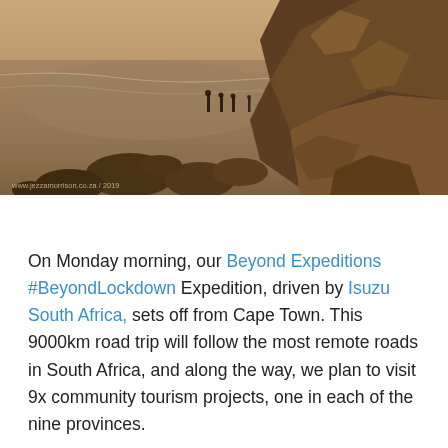[Figure (photo): Coastal landscape at dusk showing a rocky shoreline with large boulders on the right, a wet sandy beach reflecting the sky, and silhouettes of people standing in the shallow water in the distance. Warm brownish-orange tones. Watermark at bottom left reads www.jezzamorrison.co.za / 2019.]
On Monday morning, our Beyond Expeditions #BeyondLockdown Expedition, driven by Isuzu South Africa, sets off from Cape Town. This 9000km road trip will follow the most remote roads in South Africa, and along the way, we plan to visit 9x community tourism projects, one in each of the nine provinces.